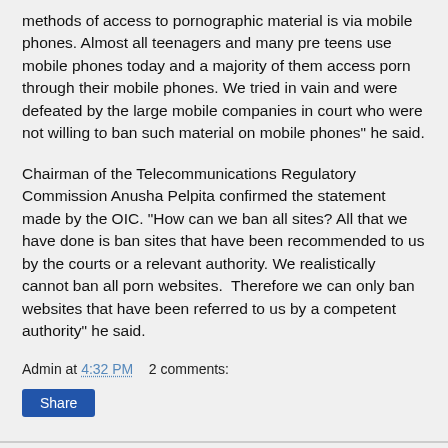methods of access to pornographic material is via mobile phones. Almost all teenagers and many pre teens use mobile phones today and a majority of them access porn through their mobile phones. We tried in vain and were defeated by the large mobile companies in court who were not willing to ban such material on mobile phones” he said.
Chairman of the Telecommunications Regulatory Commission Anusha Pelpita confirmed the statement made by the OIC. “How can we ban all sites? All that we have done is ban sites that have been recommended to us by the courts or a relevant authority. We realistically cannot ban all porn websites.  Therefore we can only ban websites that have been referred to us by a competent authority” he said.
Admin at 4:32 PM    2 comments:
Share
Super Six will be my last movie - Maleeka